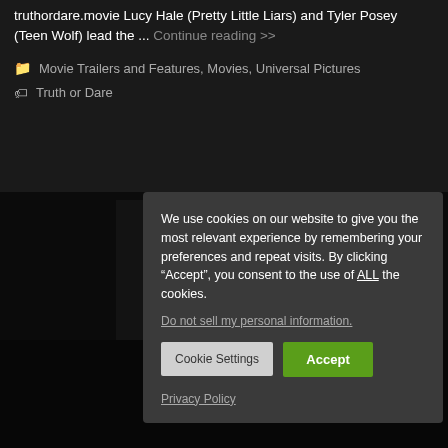truthordare.movie Lucy Hale (Pretty Little Liars) and Tyler Posey (Teen Wolf) lead the ... Continue reading >>
Movie Trailers and Features, Movies, Universal Pictures
Truth or Dare
We use cookies on our website to give you the most relevant experience by remembering your preferences and repeat visits. By clicking “Accept”, you consent to the use of ALL the cookies.
Do not sell my personal information.
Cookie Settings
Accept
Privacy Policy